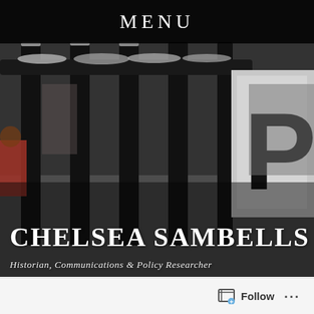MENU
[Figure (photo): Black and white photograph of iron fence/gate railings dusted with snow, with a white sign partially visible on the right side showing a large letter 'P', and a person in orange/red visible on the left side.]
CHELSEA SAMBELLS
Historian, Communications & Policy Researcher
Follow ...